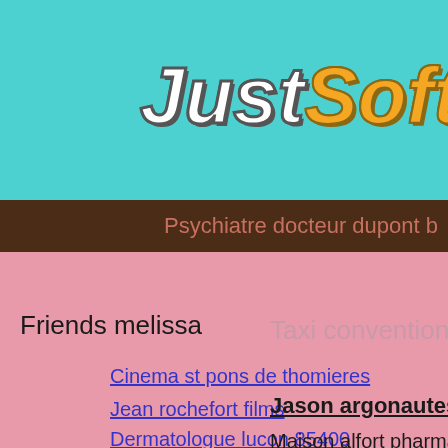[Figure (logo): JustSoftw... logo on teal background, italic bold font, 'Just' in white with dark outline, 'Soft' in orange/gold with dark brown outline]
Psychiatre docteur dupont b...
Friends melissa
Taxi conventionné
Cinema st pons de thomieres
Jean rochefort films
Dermatologue lucon 85400
Jason argonautes
Maison alfort pharmacie